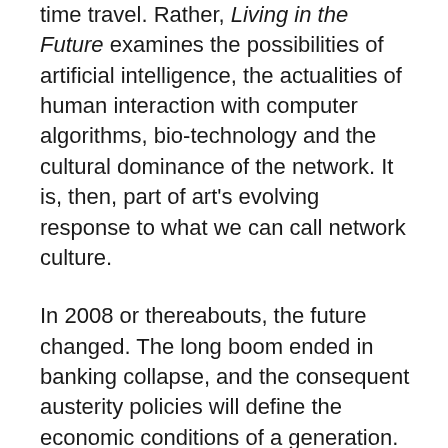time travel. Rather, Living in the Future examines the possibilities of artificial intelligence, the actualities of human interaction with computer algorithms, bio-technology and the cultural dominance of the network. It is, then, part of art's evolving response to what we can call network culture.
In 2008 or thereabouts, the future changed. The long boom ended in banking collapse, and the consequent austerity policies will define the economic conditions of a generation. At the same time, the sudden mainstream adoption of social media shifted cultural primacy toward new behaviours and forms of digital technology. The previous 20 years had been dominated by the internet, of course, but it was only with the widespread adoption of social media and smartphones that digital stopped being thought of as a separate realm; instead, it became an all-